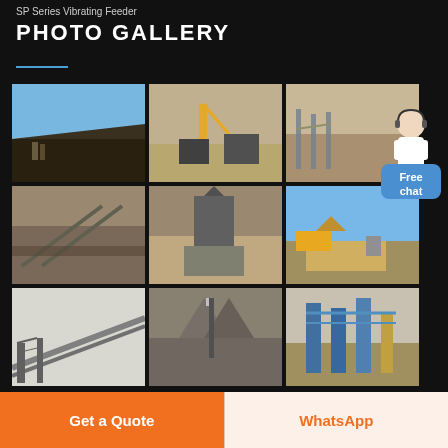SP Series Vibrating Feeder
PHOTO GALLERY
[Figure (photo): Mining site with large dark ore stockpile and workers]
[Figure (photo): Yellow crane and conveyor belt system at industrial site]
[Figure (photo): Open quarry with conveyor structure along cliff face]
[Figure (photo): Conveyor and structural steel at dusty mining site]
[Figure (photo): Construction site with vibrating feeder installation pit]
[Figure (photo): Excavator loading truck at construction or mining site]
[Figure (photo): Large steel conveyor truss bridge structure]
[Figure (photo): Concrete hopper or feeder pit under construction]
[Figure (photo): Blue industrial plant and conveyor facility]
[Figure (illustration): Free chat customer service representative icon with chat bubble]
Get a Quote
WhatsApp